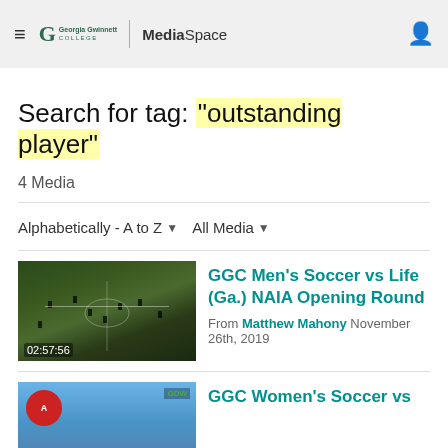Georgia Gwinnett College MediaSpace
Search for tag: "outstanding player"
4 Media
Alphabetically - A to Z   All Media
[Figure (screenshot): Thumbnail of soccer field with players, timestamp 02:57:56]
GGC Men's Soccer vs Life (Ga.) NAIA Opening Round From Matthew Mahony November 26th, 2019
[Figure (screenshot): Thumbnail with red circular logo and GDW badge, partial view]
GGC Women's Soccer vs